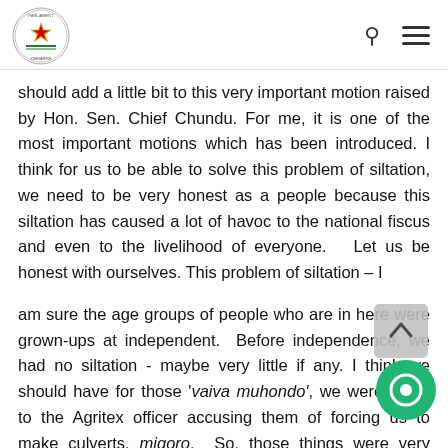Parliament of Zimbabwe
should add a little bit to this very important motion raised by Hon. Sen. Chief Chundu. For me, it is one of the most important motions which has been introduced. I think for us to be able to solve this problem of siltation, we need to be very honest as a people because this siltation has caused a lot of havoc to the national fiscus and even to the livelihood of everyone. Let us be honest with ourselves. This problem of siltation – I
am sure the age groups of people who are in here were grown-ups at independent. Before independence, we had no siltation - maybe very little if any. I think we should have for those 'vaiva muhondo', we were going to the Agritex officer accusing them of forcing us to make culverts, migoro. So, those things were very important